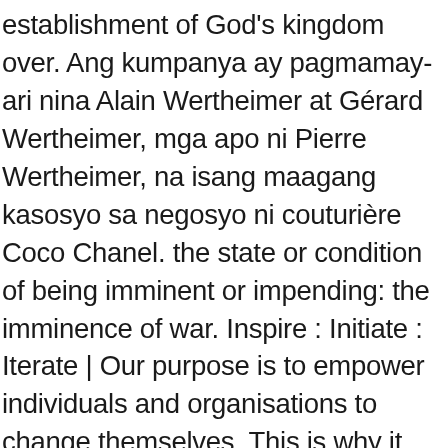establishment of God's kingdom over. Ang kumpanya ay pagmamay-ari nina Alain Wertheimer at Gérard Wertheimer, mga apo ni Pierre Wertheimer, na isang maagang kasosyo sa negosyo ni couturière Coco Chanel. the state or condition of being imminent or impending: the imminence of war. Inspire : Initiate : Iterate | Our purpose is to empower individuals and organisations to change themselves. This is why it can be terrifying. imminent | 48 followers on LinkedIn. … 2020 in Uncategorized. Filipino Translation. "in danger imminent." + 3 mga kahulugan . Imminent definition, likely to occur at any moment; impending: Her death is imminent. Filipino dictionary. [L. imminens, p. pr. Tagalog synonyms: nalalapit, darating. 2. that which is imminent; impending evil or danger imminent, immanent The more common word imminent, derived from the Latin word minēre 'to threaten', means 'about to happen' and has